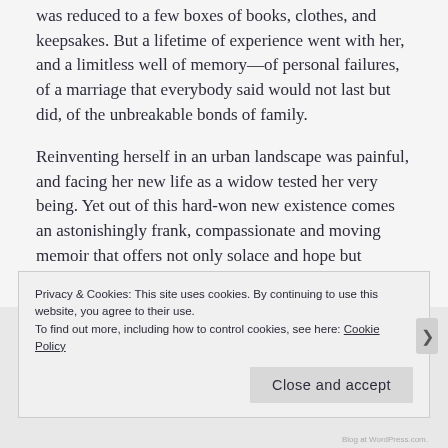was reduced to a few boxes of books, clothes, and keepsakes. But a lifetime of experience went with her, and a limitless well of memory—of personal failures, of a marriage that everybody said would not last but did, of the unbreakable bonds of family.
Reinventing herself in an urban landscape was painful, and facing her new life as a widow tested her very being. Yet out of this hard-won new existence comes an astonishingly frank, compassionate and moving memoir that offers not only solace and hope but inspiration to those who endure profound loss.
Privacy & Cookies: This site uses cookies. By continuing to use this website, you agree to their use.
To find out more, including how to control cookies, see here: Cookie Policy
Close and accept